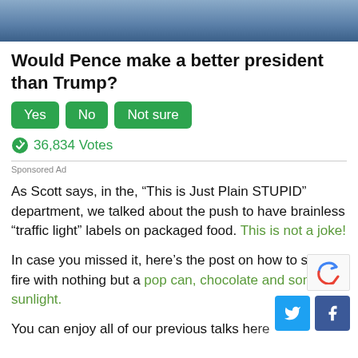[Figure (photo): Partial photo of a man in a suit and tie at the top of the page]
Would Pence make a better president than Trump?
Yes   No   Not sure   (buttons)
36,834 Votes
Sponsored Ad
As Scott says, in the, “This is Just Plain STUPID” department, we talked about the push to have brainless “traffic light” labels on packaged food. This is not a joke!
In case you missed it, here’s the post on how to start a fire with nothing but a pop can, chocolate and some sunlight.
You can enjoy all of our previous talks here